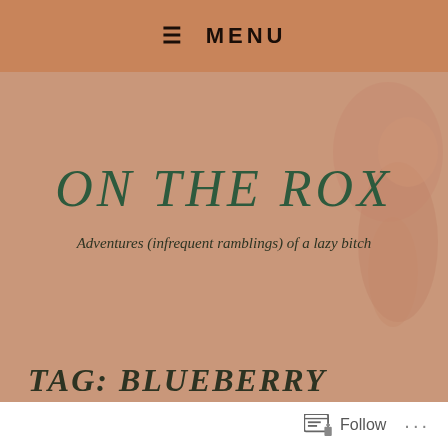≡ MENU
ON THE ROX
Adventures (infrequent ramblings) of a lazy bitch
TAG: BLUEBERRY
Celebrating monso's return